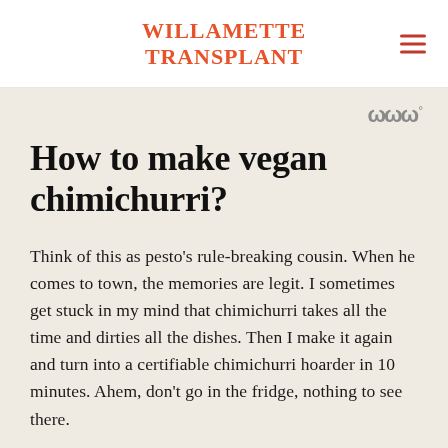WILLAMETTE TRANSPLANT
How to make vegan chimichurri?
Think of this as pesto's rule-breaking cousin. When he comes to town, the memories are legit. I sometimes get stuck in my mind that chimichurri takes all the time and dirties all the dishes. Then I make it again and turn into a certifiable chimichurri hoarder in 10 minutes. Ahem, don't go in the fridge, nothing to see there.